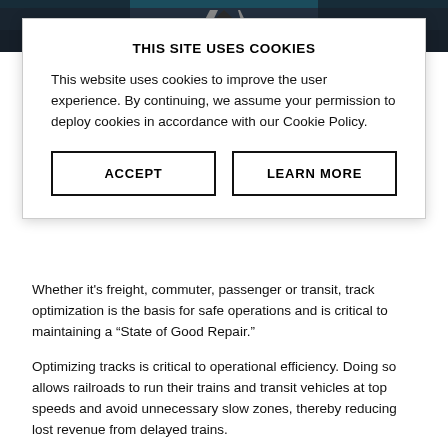[Figure (photo): Railroad tracks photograph viewed from above, dark/blue tones]
THIS SITE USES COOKIES
This website uses cookies to improve the user experience. By continuing, we assume your permission to deploy cookies in accordance with our Cookie Policy.
ACCEPT
LEARN MORE
Whether it's freight, commuter, passenger or transit, track optimization is the basis for safe operations and is critical to maintaining a “State of Good Repair.”
Optimizing tracks is critical to operational efficiency. Doing so allows railroads to run their trains and transit vehicles at top speeds and avoid unnecessary slow zones, thereby reducing lost revenue from delayed trains.
Properly optimizing tracks can help railroads and transit systems save money, reduce the number of derailments, and lower the number of significant infrastructure projects they may need to undertake.